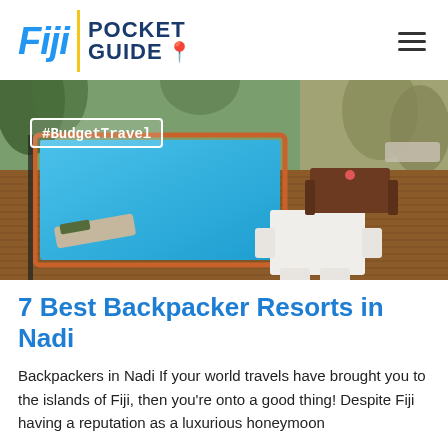[Figure (logo): Fiji Pocket Guide logo with stylized italic 'Fiji' in blue, vertical yellow divider bar, and 'POCKET GUIDE' text with yellow map pin icon]
[Figure (photo): Aerial view of a backpacker resort pool area in Nadi, Fiji, showing a blue swimming pool surrounded by wooden deck with lounge chairs, outdoor dining furniture, and tropical trees. A #BudgetTravel hashtag tag is overlaid on the photo.]
7 Best Backpacker Resorts in Nadi
Backpackers in Nadi If your world travels have brought you to the islands of Fiji, then you're onto a good thing! Despite Fiji having a reputation as a luxurious honeymoon